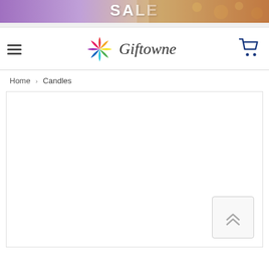[Figure (photo): Promotional sale banner with purple gradient background showing 'SALE' text in white bold letters, with warm bokeh/gift imagery on the right side.]
Giftowne — Navigation header with hamburger menu, Giftowne logo (star pinwheel icon + script text), and cart icon
Home > Candles
[Figure (screenshot): Empty white content area (product listing area for Candles category, currently blank/loading) with a scroll-to-top button (double chevron up arrows) in the bottom right corner.]